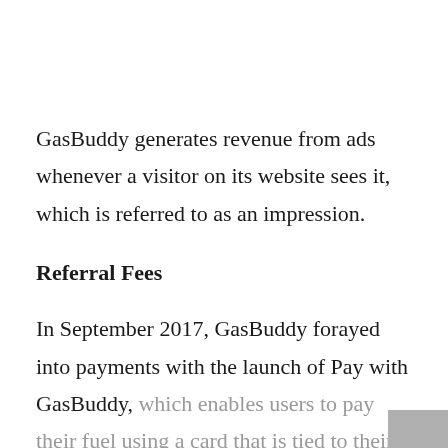GasBuddy generates revenue from ads whenever a visitor on its website sees it, which is referred to as an impression.
Referral Fees
In September 2017, GasBuddy forayed into payments with the launch of Pay with GasBuddy, which enables users to pay their fuel using a card that is tied to their bank account.